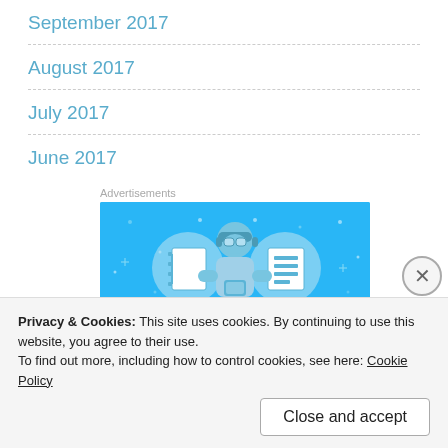September 2017
August 2017
July 2017
June 2017
Advertisements
[Figure (illustration): Advertisement banner with blue background showing a person looking at a phone flanked by two circular icons with notebook/document imagery]
Privacy & Cookies: This site uses cookies. By continuing to use this website, you agree to their use.
To find out more, including how to control cookies, see here: Cookie Policy
Close and accept